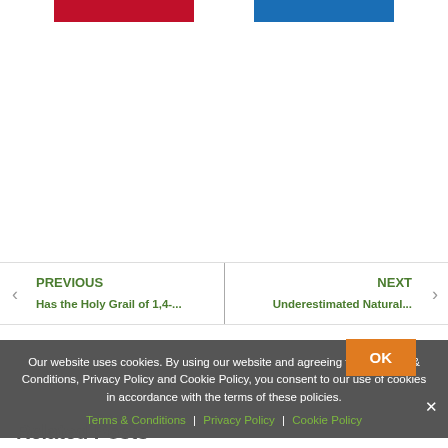[Figure (other): Two colored buttons at the top: one red and one blue]
PREVIOUS
Has the Holy Grail of 1,4-...
NEXT
Underestimated Natural...
Our website uses cookies. By using our website and agreeing to our Terms & Conditions, Privacy Policy and Cookie Policy, you consent to our use of cookies in accordance with the terms of these policies.
Terms & Conditions | Privacy Policy | Cookie Policy
Related Posts